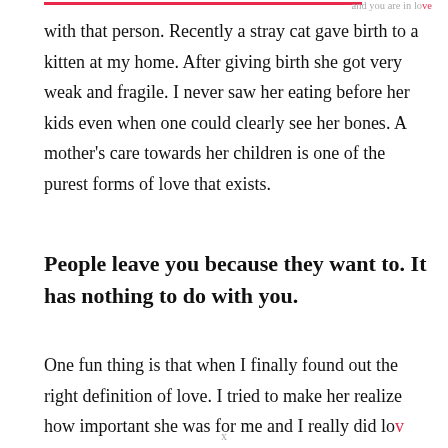and you are in love
with that person. Recently a stray cat gave birth to a kitten at my home. After giving birth she got very weak and fragile. I never saw her eating before her kids even when one could clearly see her bones. A mother’s care towards her children is one of the purest forms of love that exists.
People leave you because they want to. It has nothing to do with you.
One fun thing is that when I finally found out the right definition of love. I tried to make her realize how important she was for me and I really did lov…
x